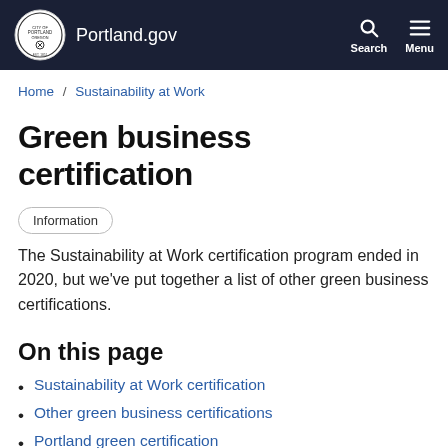Portland.gov
Home / Sustainability at Work
Green business certification
Information
The Sustainability at Work certification program ended in 2020, but we've put together a list of other green business certifications.
On this page
Sustainability at Work certification
Other green business certifications
Portland green certification